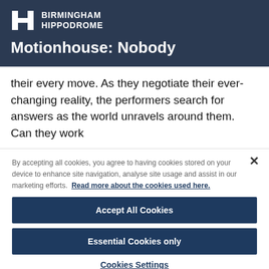[Figure (logo): Birmingham Hippodrome logo with H icon and text BIRMINGHAM HIPPODROME]
Motionhouse: Nobody
their every move. As they negotiate their ever-changing reality, the performers search for answers as the world unravels around them. Can they work
By accepting all cookies, you agree to having cookies stored on your device to enhance site navigation, analyse site usage and assist in our marketing efforts. Read more about the cookies used here.
Accept All Cookies
Essential Cookies only
Cookies Settings